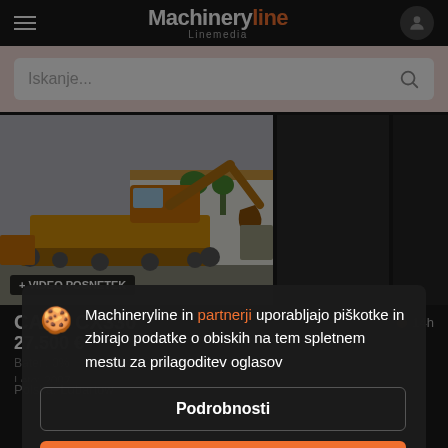Machineryline Linemedia
Iskanje...
[Figure (photo): Photo of a yellow crawler excavator (CASE CX330) with bucket down, parked on gravel in front of a building. Badge reads '+ VIDEO POSNETEK'.]
CASE CX330
27.500 €
Bateri: 0%
Leto: 2007
Polska, Lubartow
Machineryline in partnerji uporabljajo piškotke in zbirajo podatke o obiskih na tem spletnem mestu za prilagoditev oglasov
Podrobnosti
Sprejmi in zapri